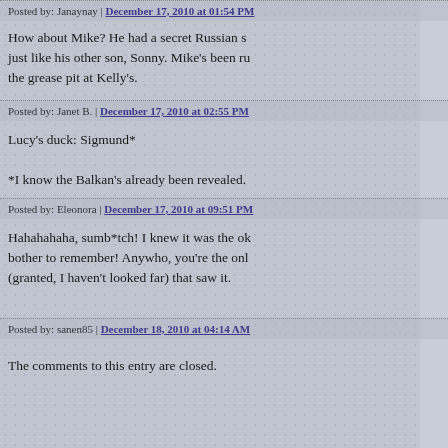Posted by: Janaynay | December 17, 2010 at 01:54 PM
How about Mike? He had a secret Russian s... just like his other son, Sonny. Mike's been ru... the grease pit at Kelly's.
Posted by: Janet B. | December 17, 2010 at 02:55 PM
Lucy's duck: Sigmund*

*I know the Balkan's already been revealed.
Posted by: Eleonora | December 17, 2010 at 09:51 PM
Hahahahaha, sumb*tch! I knew it was the ol... bother to remember! Anywho, you're the onl... (granted, I haven't looked far) that saw it.
Posted by: sanen85 | December 18, 2010 at 04:14 AM
The comments to this entry are closed.